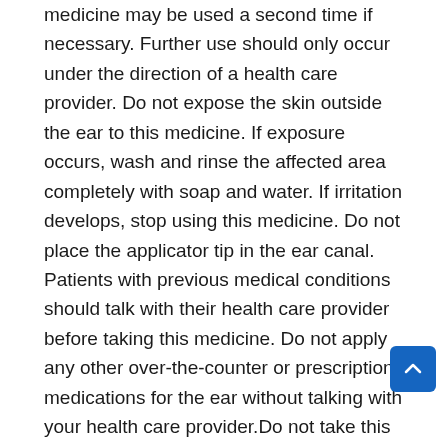medicine may be used a second time if necessary. Further use should only occur under the direction of a health care provider. Do not expose the skin outside the ear to this medicine. If exposure occurs, wash and rinse the affected area completely with soap and water. If irritation develops, stop using this medicine. Do not place the applicator tip in the ear canal. Patients with previous medical conditions should talk with their health care provider before taking this medicine. Do not apply any other over-the-counter or prescription medications for the ear without talking with your health care provider.Do not take this medicine if you are allergic to any ingredient in this medicine you have a puncture in the eardrum you have a middle ear infectionBefore using this medicine, tell your health care provider about any of the following: if you are pregnant, planning to become pregnant, or breastfeeding if you are taking any prescription or nonprescription medicine if you have any other medical conditionDo not to exceed a 15 to 20 minute exposure of the ear canal to this medication do not use the drops more frequently than prescribed. If an untoward